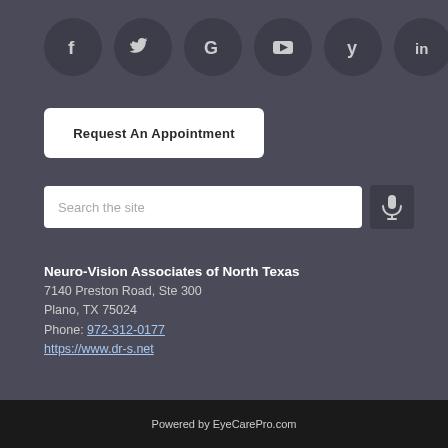[Figure (other): Row of six social media icon buttons: Facebook, Twitter, Google, YouTube, Yelp, LinkedIn — circular dark grey icons on a dark background]
[Figure (other): White rounded rectangle button labeled 'Request An Appointment']
[Figure (other): Search bar with placeholder text 'Search the site' and a microphone icon button to the right]
Neuro-Vision Associates of North Texas
7140 Preston Road, Ste 300
Plano, TX 75024
Phone: 972-312-0177
https://www.dr-s.net
Powered by EyeCarePro.com